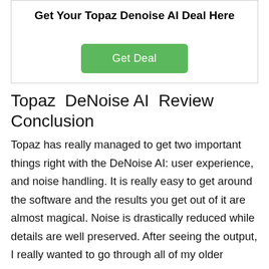Get Your Topaz Denoise AI Deal Here
[Figure (other): Green 'Get Deal' button]
Topaz DeNoise AI Review Conclusion
Topaz has really managed to get two important things right with the DeNoise AI: user experience, and noise handling. It is really easy to get around the software and the results you get out of it are almost magical. Noise is drastically reduced while details are well preserved. After seeing the output, I really wanted to go through all of my older images and run them through this software. I